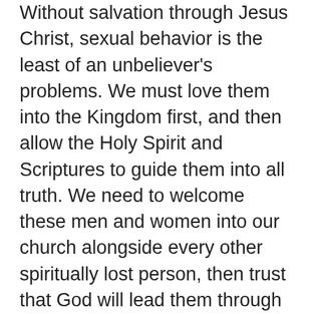Without salvation through Jesus Christ, sexual behavior is the least of an unbeliever's problems. We must love them into the Kingdom first, and then allow the Holy Spirit and Scriptures to guide them into all truth. We need to welcome these men and women into our church alongside every other spiritually lost person, then trust that God will lead them through a process of sanctification, just as he has each of us in the church. It's reasonable to assume that LGBTQ non-Christians may not have much interest in coming to your church. [scroll button] is the case, perhaps the place to begin is by inviting them into your home and begin building redemptive relationships with them. Love your gay